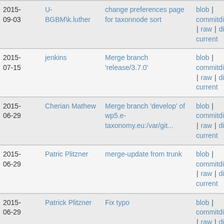| Date | Author | Commit Message | Links |
| --- | --- | --- | --- |
| 2015-09-03 | U-BGBM\k.luther | change preferences page for taxonnode sort | blob | commitdiff | raw | diff to current |
| 2015-07-15 | jenkins | Merge branch 'release/3.7.0' | blob | commitdiff | raw | diff to current |
| 2015-06-29 | Cherian Mathew | Merge branch 'develop' of wp5.e-taxonomy.eu:/var/git... | blob | commitdiff | raw | diff to current |
| 2015-06-29 | Patric Plitzner | merge-update from trunk | blob | commitdiff | raw | diff to current |
| 2015-06-29 | Patrick Plitzner | Fix typo | blob | commitdiff | raw | diff to current |
| 2015-... | Cherian Mathew | Merge branch 'move-to-luna' into ... | blob | ... |